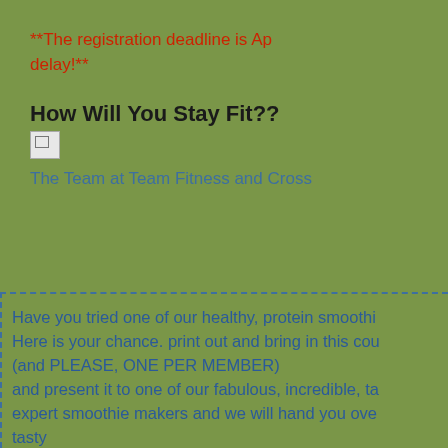**The registration deadline is Ap... delay!**
How Will You Stay Fit??
[Figure (illustration): Small broken/placeholder image icon]
The Team at Team Fitness and Cross...
Have you tried one of our healthy, protein smoothi... Here is your chance. print out and bring in this cou... (and PLEASE, ONE PER MEMBER) and present it to one of our fabulous, incredible, ta... expert smoothie makers and we will hand you ove... tasty post-workout smoothie to help you preserve your... help them to re-cooperate, recover, build, and bu...